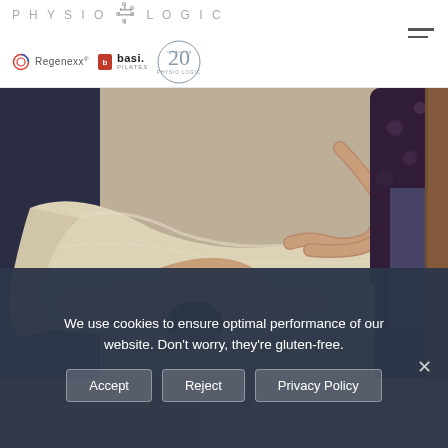[Figure (logo): Physio-Logic logo with stylized circuit/body icon between PHYSIO and LOGIC text, plus partner logos: Regenexx, basi Pilates, and 20th anniversary Physio-Logic badge]
[Figure (photo): Massage therapy photo: a therapist performing back massage on a person lying face down on a massage table covered with white sheets, dark blue background on left, wooden elements on right]
[Figure (photo): Partial bottom strip showing another image, partially obscured by cookie banner]
We use cookies to ensure optimal performance of our website. Don't worry, they're gluten-free.
Accept
Reject
Privacy Policy